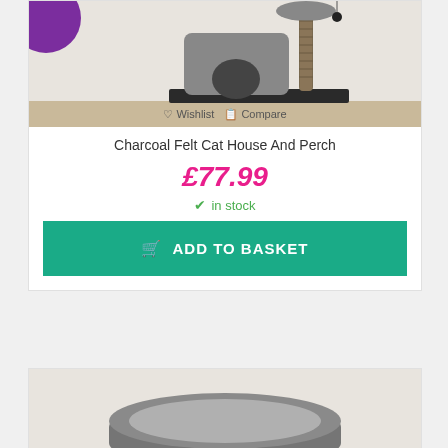[Figure (photo): Photo of a charcoal felt cat house and perch with scratching post, partially visible purple sale badge in top-left corner. Wishlist and Compare links overlaid at bottom.]
Charcoal Felt Cat House And Perch
£77.99
in stock
ADD TO BASKET
[Figure (photo): Partial photo of a grey felt cat bed (bottom of page, cropped)]